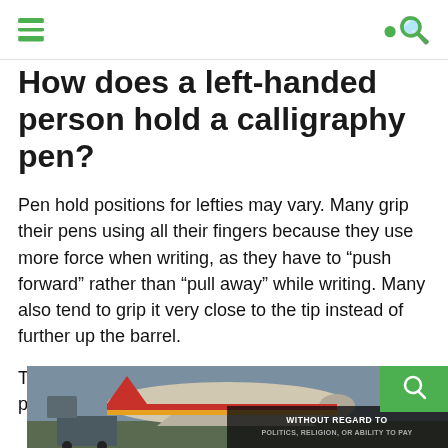navigation header with menu and search icons
How does a left-handed person hold a calligraphy pen?
Pen hold positions for lefties may vary. Many grip their pens using all their fingers because they use more force when writing, as they have to “push forward” rather than “pull away” while writing. Many also tend to grip it very close to the tip instead of further up the barrel.
The best way for left-handers to hold a calligraphy pen is with an underwriter grip if
[Figure (photo): Advertisement banner showing an airplane being loaded with cargo, with text overlay reading WITHOUT REGARD TO POLITICS, RELIGION, OR ABILITY TO PAY]